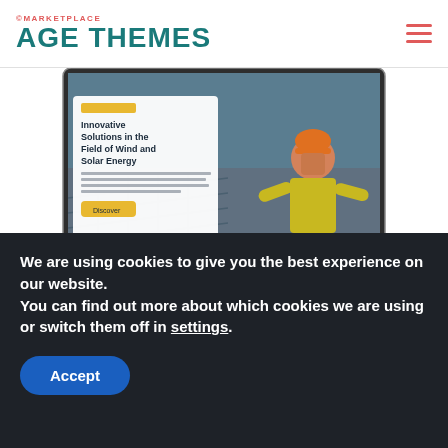©MARKETPLACE
AGE THEMES
[Figure (screenshot): Screenshot of a website displayed on a desktop iMac monitor. The website shows a hero section with the headline 'Innovative Solutions in the Field of Wind and Solar Energy' alongside an image of a construction worker in an orange helmet and yellow safety vest working on a solar panel installation. There is a white card overlay with a yellow 'Discover' button.]
AT Solumax — Free Responsive Solar Energy template by
We are using cookies to give you the best experience on our website.
You can find out more about which cookies we are using or switch them off in settings.
Accept